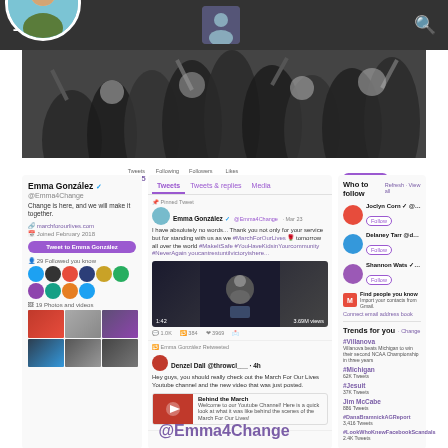[Figure (screenshot): Twitter/social media profile page for Emma González (@Emma4Change), showing profile photo, banner with crowd, stats (Tweets 1,715; Following 125; Followers 1.54M; Likes 2,825), tweets feed, and right sidebar with follow suggestions and trending topics.]
@Emma4Change